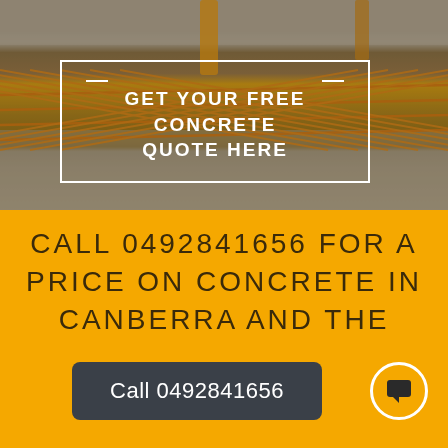[Figure (photo): Construction site photo showing rebar/reinforcement mesh grid on concrete foundation, with aggregate and construction poles visible in background]
GET YOUR FREE CONCRETE QUOTE HERE
CALL 0492841656 FOR A PRICE ON CONCRETE IN CANBERRA AND THE
Call 0492841656